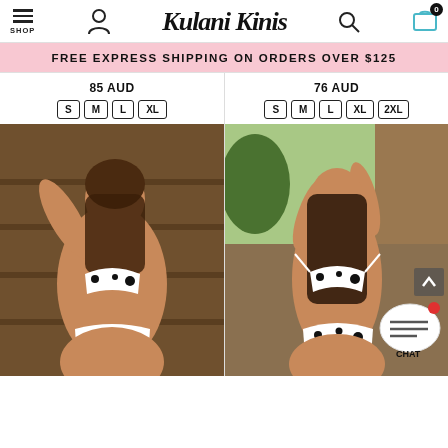Kulani Kinis — SHOP navigation with account, search, cart icons
FREE EXPRESS SHIPPING ON ORDERS OVER $125
85 AUD
S M L XL
[Figure (photo): Model wearing black and white cow-print bikini standing in front of bookshelves]
76 AUD
S M L XL 2XL
[Figure (photo): Model wearing black and white cow-print bikini outdoors, side pose with hands behind head]
[Figure (other): Chat button with speech bubble icon and CHAT label]